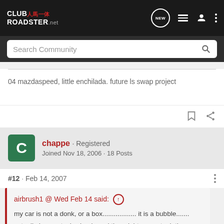CLUB ROADSTER.net — navigation header with NEW, menu, user, dots icons
Search Community
04 mazdaspeed, little enchilada. future ls swap project
chappe · Registered
Joined Nov 18, 2006 · 18 Posts
#12 · Feb 14, 2007
airbrush1 @ Wed Feb 14 said: ↑
my car is not a donk, or a box.................. it is a bubble.......
actually Im on stock wheels and tires right now... took those off for